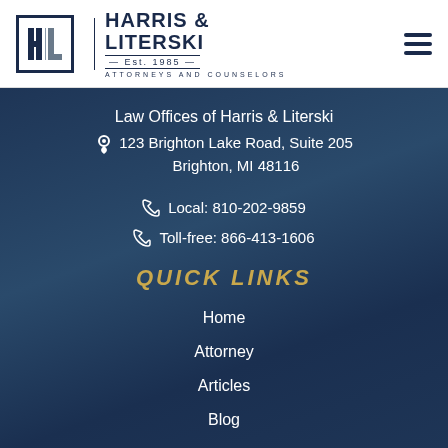[Figure (logo): Harris & Literski law firm logo with stylized H and L monogram in box, firm name, Est. 1985, Attorneys and Counselors]
Law Offices of Harris & Literski
123 Brighton Lake Road, Suite 205
Brighton, MI 48116
Local: 810-202-9859
Toll-free: 866-413-1606
QUICK LINKS
Home
Attorney
Articles
Blog